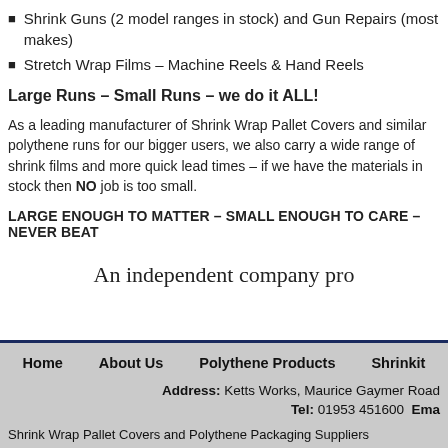Shrink Guns (2 model ranges in stock) and Gun Repairs (most makes)
Stretch Wrap Films – Machine Reels & Hand Reels
Large Runs – Small Runs – we do it ALL!
As a leading manufacturer of Shrink Wrap Pallet Covers and similar polythene runs for our bigger users, we also carry a wide range of shrink films and more quick lead times – if we have the materials in stock then NO job is too small.
LARGE ENOUGH TO MATTER – SMALL ENOUGH TO CARE – NEVER BEAT
An independent company pr
Home | About Us | Polythene Products | Shrinkit | Address: Ketts Works, Maurice Gaymer Road | Tel: 01953 451600 Email: | Shrink Wrap Pallet Covers and Polythene Packaging Suppliers